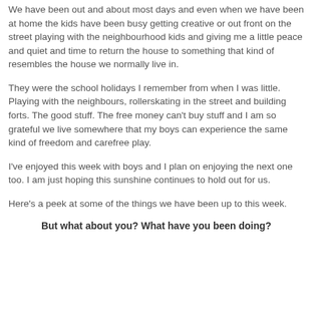We have been out and about most days and even when we have been at home the kids have been busy getting creative or out front on the street playing with the neighbourhood kids and giving me a little peace and quiet and time to return the house to something that kind of resembles the house we normally live in.
They were the school holidays I remember from when I was little. Playing with the neighbours, rollerskating in the street and building forts. The good stuff. The free money can't buy stuff and I am so grateful we live somewhere that my boys can experience the same kind of freedom and carefree play.
I've enjoyed this week with boys and I plan on enjoying the next one too. I am just hoping this sunshine continues to hold out for us.
Here's a peek at some of the things we have been up to this week.
But what about you? What have you been doing?